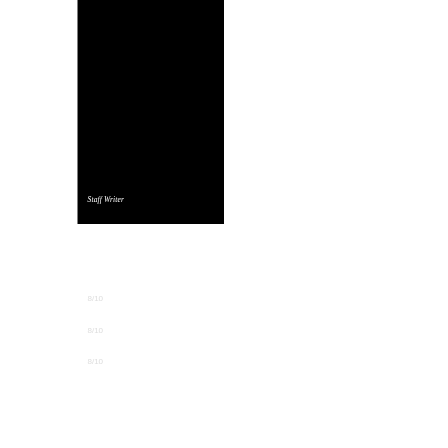Staff Writer
Review Overview
Cast
8/10
Script
8/10
Tension
8/10
Total Rating 8/10